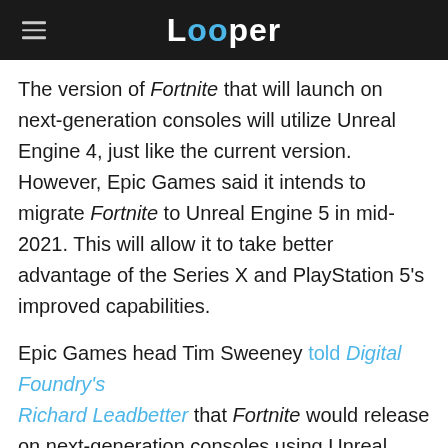Looper
The version of Fortnite that will launch on next-generation consoles will utilize Unreal Engine 4, just like the current version. However, Epic Games said it intends to migrate Fortnite to Unreal Engine 5 in mid-2021. This will allow it to take better advantage of the Series X and PlayStation 5's improved capabilities.
Epic Games head Tim Sweeney told Digital Foundry's Richard Leadbetter that Fortnite would release on next-generation consoles using Unreal Engine 4.25. Unreal Engine 4.25 dropped in May 2020. Some of its features have already been incorporated into